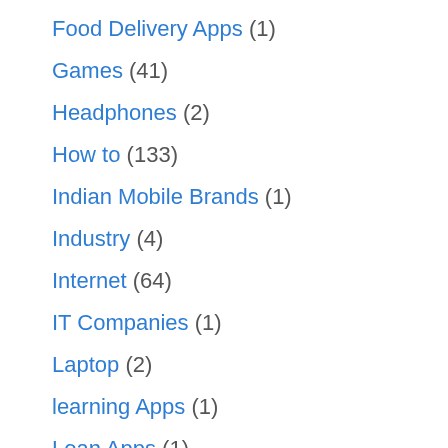Food Delivery Apps (1)
Games (41)
Headphones (2)
How to (133)
Indian Mobile Brands (1)
Industry (4)
Internet (64)
IT Companies (1)
Laptop (2)
learning Apps (1)
Loan Apps (1)